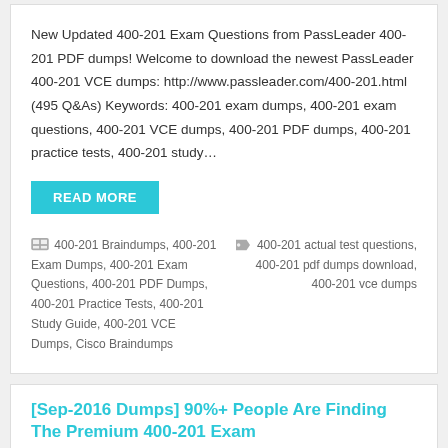New Updated 400-201 Exam Questions from PassLeader 400-201 PDF dumps! Welcome to download the newest PassLeader 400-201 VCE dumps: http://www.passleader.com/400-201.html (495 Q&As) Keywords: 400-201 exam dumps, 400-201 exam questions, 400-201 VCE dumps, 400-201 PDF dumps, 400-201 practice tests, 400-201 study...
READ MORE
400-201 Braindumps, 400-201 Exam Dumps, 400-201 Exam Questions, 400-201 PDF Dumps, 400-201 Practice Tests, 400-201 Study Guide, 400-201 VCE Dumps, Cisco Braindumps
400-201 actual test questions, 400-201 pdf dumps download, 400-201 vce dumps
[Sep-2016 Dumps] 90%+ People Are Finding The Premium 400-201 Exam